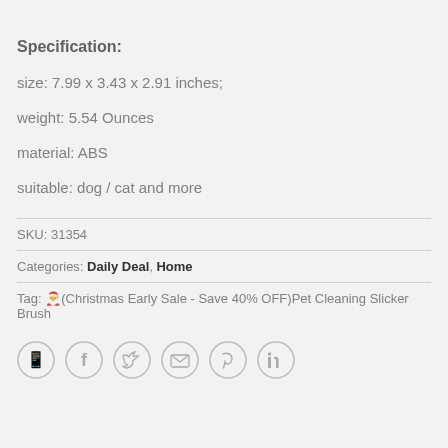Specification:
size: 7.99 x 3.43 x 2.91 inches;
weight: 5.54 Ounces
material: ABS
suitable: dog / cat and more
SKU: 31354
Categories: Daily Deal, Home
Tag: 🎄(Christmas Early Sale - Save 40% OFF)Pet Cleaning Slicker Brush
[Figure (other): Row of six circular social media share icons: WhatsApp, Facebook, Twitter, Email, Pinterest, LinkedIn]